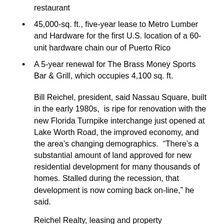restaurant
45,000-sq. ft., five-year lease to Metro Lumber and Hardware for the first U.S. location of a 60-unit hardware chain our of Puerto Rico
A 5-year renewal for The Brass Money Sports Bar & Grill, which occupies 4,100 sq. ft.
Bill Reichel, president, said Nassau Square, built in the early 1980s, is ripe for renovation with the new Florida Turnpike interchange just opened at Lake Worth Road, the improved economy, and the area’s changing demographics. “There’s a substantial amount of land approved for new residential development for many thousands of homes. Stalled during the recession, that development is now coming back on-line,” he said.
Reichel Realty, leasing and property management agent for Nassau Square, took on an expanded role to reposition the center, conceptualize the renovation, and will serve as